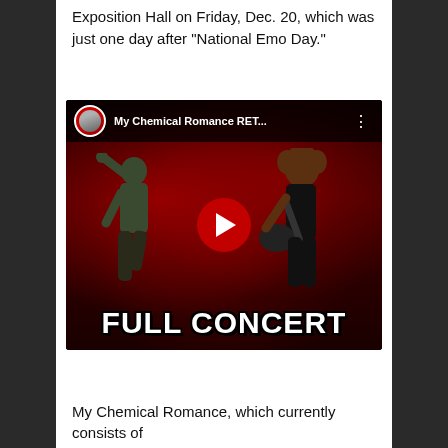Exposition Hall on Friday, Dec. 20, which was just one day after “National Emo Day.”
[Figure (screenshot): YouTube video thumbnail showing a My Chemical Romance 'FULL CONCERT' video. Two guitarists performing on stage with red stage lighting. YouTube interface with channel avatar and video title 'My Chemical Romance RET...' visible at top. Large red YouTube play button in center. Bold white text 'FULL CONCERT' at bottom of thumbnail.]
My Chemical Romance, which currently consists of